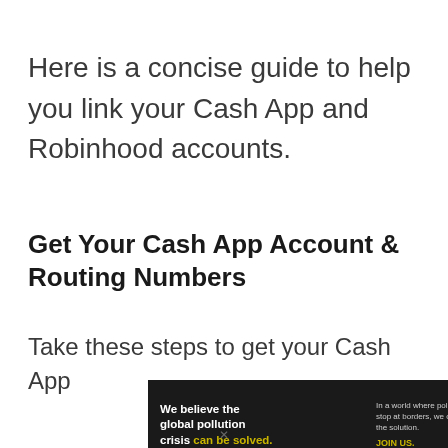Here is a concise guide to help you link your Cash App and Robinhood accounts.
Get Your Cash App Account & Routing Numbers
Take these steps to get your Cash App
[Figure (infographic): Advertisement banner for Pure Earth. Left dark panel reads: 'We believe the global pollution crisis can be solved.' with 'can be solved.' in yellow/gold. Center text: 'In a world where pollution doesn't stop at borders, we can all be part of the solution. JOIN US.' in yellow. Right white panel shows Pure Earth logo (diamond shape with leaf) and 'PURE EARTH' text in bold.]